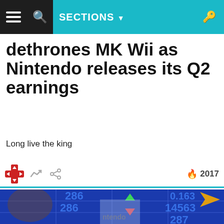SECTIONS
dethrones MK Wii as Nintendo releases its Q2 earnings
Long live the king
2017
[Figure (photo): Tom Nook (Animal Crossing character) holding a bag of money in front of a Nintendo building with a stock market ticker board in the background showing numbers 286, 0.163, 286, 14563, 287.]